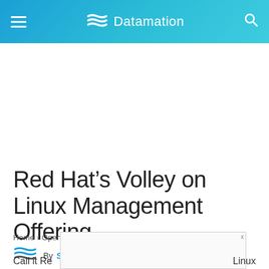Datamation
Red Hat’s Volley on Linux Management Offering
Home › Open Source
By Sean Michael Kerner    February 3, 2007
Call it Re...
Linux